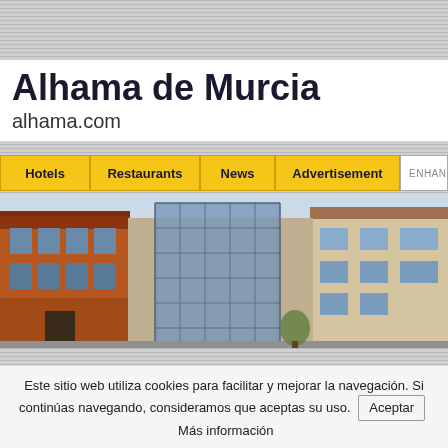Alhama de Murcia
alhama.com
[Figure (screenshot): Navigation bar with menu items: Hotels, Restaurants, News, Advertisement, and an Enhanced by Google search box]
[Figure (photo): Photograph of buildings in Alhama de Murcia showing a red/brown building on the left, a modern glass-fronted building in the center, and a beige building on the right, against a light sky]
Este sitio web utiliza cookies para facilitar y mejorar la navegación. Si continúas navegando, consideramos que aceptas su uso. Aceptar Más información